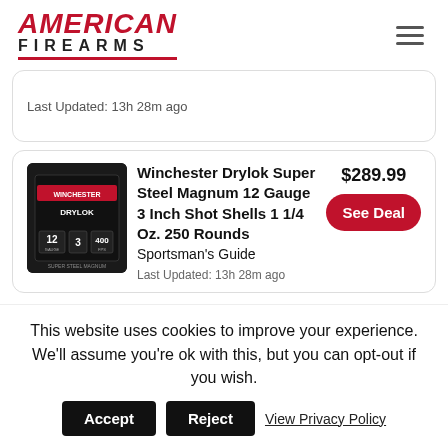AMERICAN FIREARMS
Last Updated: 13h 28m ago
[Figure (photo): Winchester Drylok Super Steel Magnum 12 Gauge shot shells box, black packaging]
Winchester Drylok Super Steel Magnum 12 Gauge 3 Inch Shot Shells 1 1/4 Oz. 250 Rounds
Sportsman's Guide
$289.99
See Deal
Last Updated: 13h 28m ago
This website uses cookies to improve your experience. We'll assume you're ok with this, but you can opt-out if you wish.
Accept
Reject
View Privacy Policy